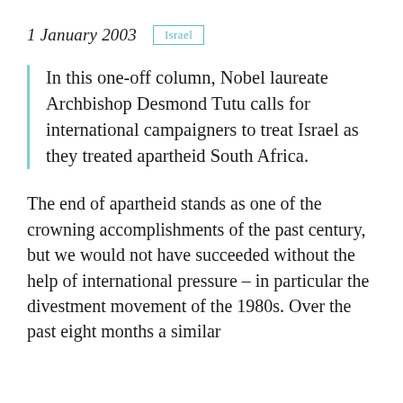1 January 2003   Israel
In this one-off column, Nobel laureate Archbishop Desmond Tutu calls for international campaigners to treat Israel as they treated apartheid South Africa.
The end of apartheid stands as one of the crowning accomplishments of the past century, but we would not have succeeded without the help of international pressure – in particular the divestment movement of the 1980s. Over the past eight months a similar